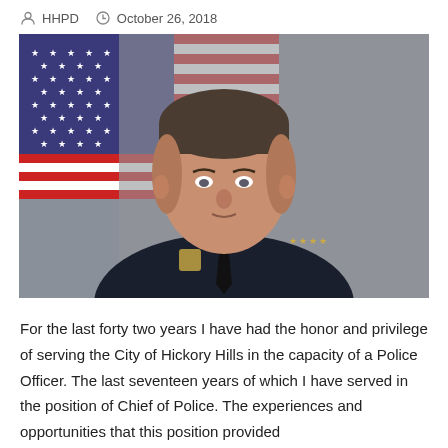HHPD   October 26, 2018
[Figure (photo): Official police chief portrait photo: middle-aged man in black police uniform with gold stars on shoulders, standing in front of an American flag against a gray background.]
For the last forty two years I have had the honor and privilege of serving the City of Hickory Hills in the capacity of a Police Officer. The last seventeen years of which I have served in the position of Chief of Police. The experiences and opportunities that this position provided